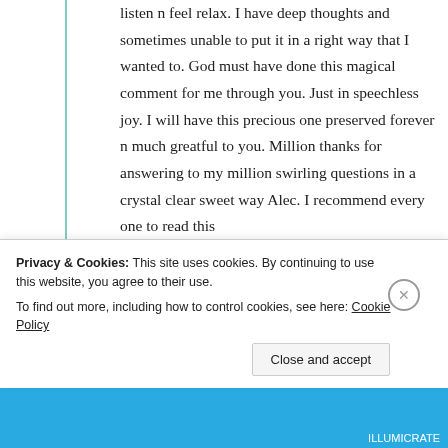listen n feel relax. I have deep thoughts and sometimes unable to put it in a right way that I wanted to. God must have done this magical comment for me through you. Just in speechless joy. I will have this precious one preserved forever n much greatful to you. Million thanks for answering to my million swirling questions in a crystal clear sweet way Alec. I recommend every one to read this
Privacy & Cookies: This site uses cookies. By continuing to use this website, you agree to their use. To find out more, including how to control cookies, see here: Cookie Policy
Close and accept